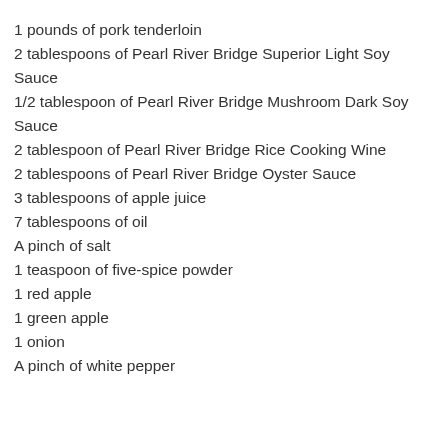1 pounds of pork tenderloin
2 tablespoons of Pearl River Bridge Superior Light Soy Sauce
1/2 tablespoon of Pearl River Bridge Mushroom Dark Soy Sauce
2 tablespoon of Pearl River Bridge Rice Cooking Wine
2 tablespoons of Pearl River Bridge Oyster Sauce
3 tablespoons of apple juice
7 tablespoons of oil
A pinch of salt
1 teaspoon of five-spice powder
1 red apple
1 green apple
1 onion
A pinch of white pepper